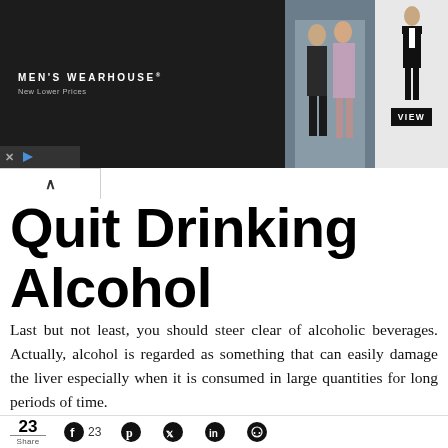[Figure (photo): Men's Wearhouse advertisement banner showing a couple in formal wear and a man in a tuxedo with VIEW button]
Quit Drinking Alcohol
Last but not least, you should steer clear of alcoholic beverages. Actually, alcohol is regarded as something that can easily damage the liver especially when it is consumed in large quantities for long periods of time.
23 Share | Facebook 23 | Pinterest | Twitter | LinkedIn | Reddit